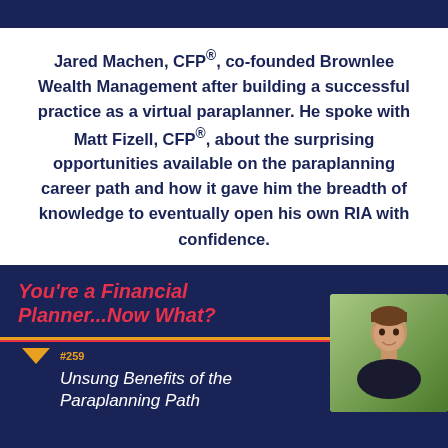Jared Machen, CFP®, co-founded Brownlee Wealth Management after building a successful practice as a virtual paraplanner. He spoke with Matt Fizell, CFP®, about the surprising opportunities available on the paraplanning career path and how it gave him the breadth of knowledge to eventually open his own RIA with confidence.
[Figure (screenshot): Podcast card for 'You're a Financial Planner...Now What?' episode #259 titled 'Unsung Benefits of the Paraplanning Path' with FPA logo and guest headshot photo]